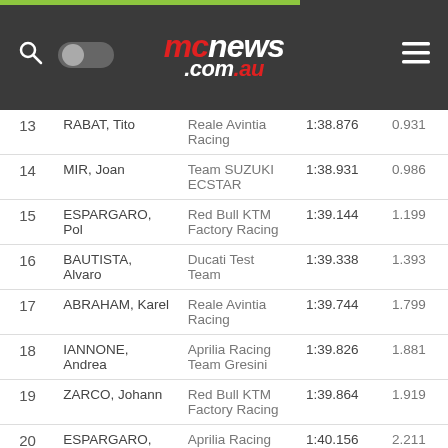[Figure (screenshot): mcnews.com.au website header with logo, search icon, toggle and hamburger menu on dark background]
| Pos | Rider | Team | Time | Gap |
| --- | --- | --- | --- | --- |
| 13 | RABAT, Tito | Reale Avintia Racing | 1:38.876 | 0.931 |
| 14 | MIR, Joan | Team SUZUKI ECSTAR | 1:38.931 | 0.986 |
| 15 | ESPARGARO, Pol | Red Bull KTM Factory Racing | 1:39.144 | 1.199 |
| 16 | BAUTISTA, Alvaro | Ducati Test Team | 1:39.338 | 1.393 |
| 17 | ABRAHAM, Karel | Reale Avintia Racing | 1:39.744 | 1.799 |
| 18 | IANNONE, Andrea | Aprilia Racing Team Gresini | 1:39.826 | 1.881 |
| 19 | ZARCO, Johann | Red Bull KTM Factory Racing | 1:39.864 | 1.919 |
| 20 | ESPARGARO, Aleix | Aprilia Racing Team Gresini | 1:40.156 | 2.211 |
| 21 | SMITH, Bradley | Aprilia Racing Test Team | 1:40.325 | 2.380 |
| 22 | GUINTOLI, Sylvain | SUZUKI Test Team | 1:40.498 | 2.553 |
| 23 | SYAHRIN, Hafizh | KTM Tech 3 | 1:40.520 | 2.575 |